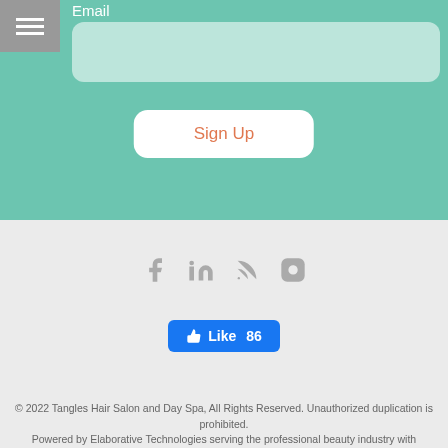Email
[Figure (screenshot): Sign Up button on teal background with email input field and hamburger menu icon]
[Figure (infographic): Social media icons: Facebook, LinkedIn, RSS, Instagram, and a Facebook Like button showing 86 likes]
© 2022 Tangles Hair Salon and Day Spa, All Rights Reserved. Unauthorized duplication is prohibited. Powered by Elaborative Technologies serving the professional beauty industry with